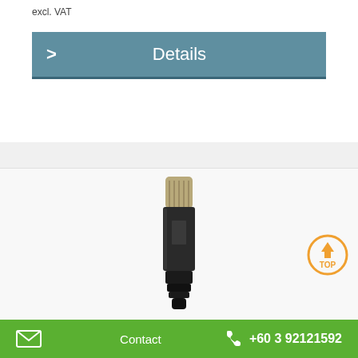excl. VAT
Details
[Figure (photo): A sensor probe or data logger device with a metallic mesh-covered top section and a black cylindrical body with connector base.]
Contact   +60 3 92121592